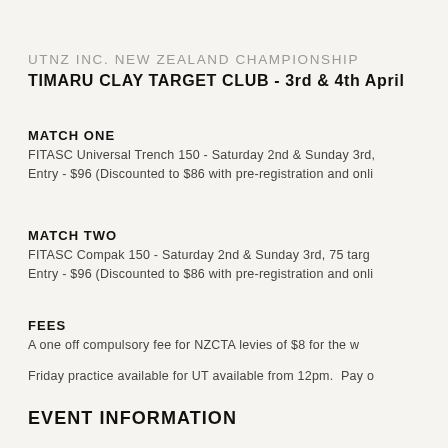UTNZ INC. NEW ZEALAND CHAMPIONSHIP
TIMARU CLAY TARGET CLUB - 3rd & 4th April
MATCH ONE
FITASC Universal Trench 150 - Saturday 2nd & Sunday 3rd,
Entry - $96 (Discounted to $86 with pre-registration and onli
MATCH TWO
FITASC Compak 150 - Saturday 2nd & Sunday 3rd, 75 targ
Entry - $96 (Discounted to $86 with pre-registration and onli
FEES
A one off compulsory fee for NZCTA levies of $8 for the w
Friday practice available for UT available from 12pm. Pay o
EVENT INFORMATION